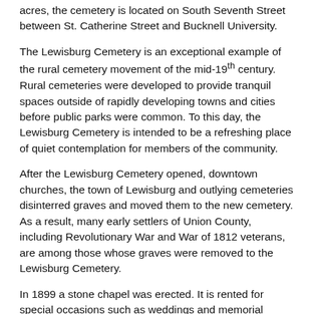acres, the cemetery is located on South Seventh Street between St. Catherine Street and Bucknell University.
The Lewisburg Cemetery is an exceptional example of the rural cemetery movement of the mid-19th century. Rural cemeteries were developed to provide tranquil spaces outside of rapidly developing towns and cities before public parks were common. To this day, the Lewisburg Cemetery is intended to be a refreshing place of quiet contemplation for members of the community.
After the Lewisburg Cemetery opened, downtown churches, the town of Lewisburg and outlying cemeteries disinterred graves and moved them to the new cemetery. As a result, many early settlers of Union County, including Revolutionary War and War of 1812 veterans, are among those whose graves were removed to the Lewisburg Cemetery.
In 1899 a stone chapel was erected. It is rented for special occasions such as weddings and memorial services. In front of the chapel is a columbarium with a fountain, garden, and benches. The Veterans Section on the chapel road, which was initially set aside for veterans of the Civil War, also memorializes veterans of subsequent wars. A mausoleum for above-ground burials located near the